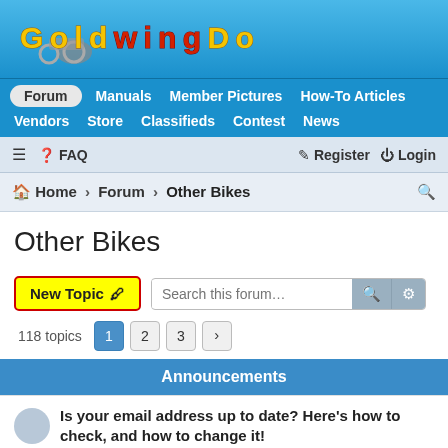[Figure (logo): GoldwingDocs logo with motorcycle image and colorful text]
Forum | Manuals | Member Pictures | How-To Articles | Vendors | Store | Classifieds | Contest | News
≡ FAQ | Register Login
Home › Forum › Other Bikes
Other Bikes
New Topic 🖊 | Search this forum... | 118 topics | 1 2 3 >
Announcements
Is your email address up to date? Here's how to check, and how to change it!